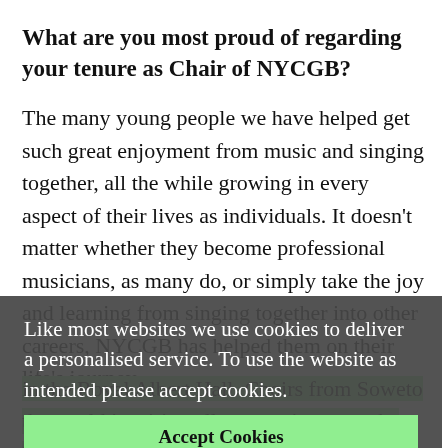What are you most proud of regarding your tenure as Chair of NYCGB?
The many young people we have helped get such great enjoyment from music and singing together, all the while growing in every aspect of their lives as individuals. It doesn't matter whether they become professional musicians, as many do, or simply take the joy and learning from singing together into other careers, NYCGB has helped them on their life's journey.
Do you have an outstanding memory of your time as Chair?
The massed choirs singing who we are by Kerry Andrews in the Royal Albert Hall. Choirs from Soweto and around the world inspiring all young signers at the International Youth Choirs Festival. The emotion, last October, of the
Like most websites we use cookies to deliver a personalised service. To use the website as intended please accept cookies.